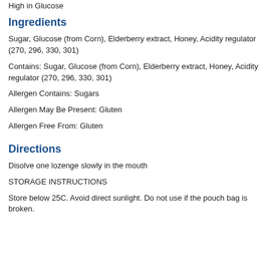High in Glucose
Ingredients
Sugar, Glucose (from Corn), Elderberry extract, Honey, Acidity regulator (270, 296, 330, 301)
Contains: Sugar, Glucose (from Corn), Elderberry extract, Honey, Acidity regulator (270, 296, 330, 301)
Allergen Contains: Sugars
Allergen May Be Present: Gluten
Allergen Free From: Gluten
Directions
Disolve one lozenge slowly in the mouth
STORAGE INSTRUCTIONS
Store below 25C. Avoid direct sunlight. Do not use if the pouch bag is broken.